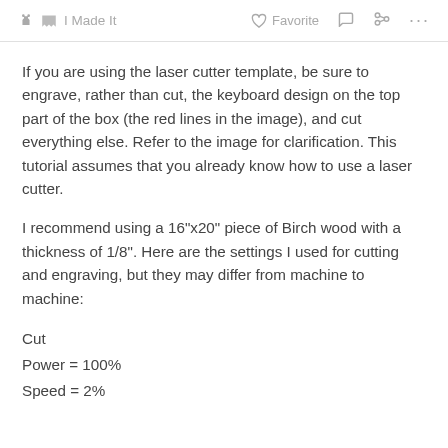✋ I Made It   ♡ Favorite   💬   ⎋   ···
If you are using the laser cutter template, be sure to engrave, rather than cut, the keyboard design on the top part of the box (the red lines in the image), and cut everything else. Refer to the image for clarification. This tutorial assumes that you already know how to use a laser cutter.
I recommend using a 16"x20" piece of Birch wood with a thickness of 1/8". Here are the settings I used for cutting and engraving, but they may differ from machine to machine:
Cut
Power = 100%
Speed = 2%